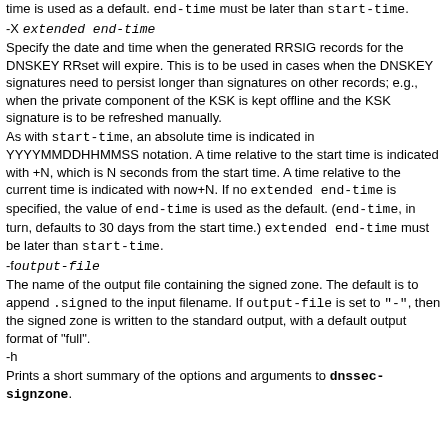time is used as a default. end-time must be later than start-time.
-X extended end-time
Specify the date and time when the generated RRSIG records for the DNSKEY RRset will expire. This is to be used in cases when the DNSKEY signatures need to persist longer than signatures on other records; e.g., when the private component of the KSK is kept offline and the KSK signature is to be refreshed manually.
As with start-time, an absolute time is indicated in YYYYMMDDHHMMSS notation. A time relative to the start time is indicated with +N, which is N seconds from the start time. A time relative to the current time is indicated with now+N. If no extended end-time is specified, the value of end-time is used as the default. (end-time, in turn, defaults to 30 days from the start time.) extended end-time must be later than start-time.
-f output-file
The name of the output file containing the signed zone. The default is to append .signed to the input filename. If output-file is set to "-", then the signed zone is written to the standard output, with a default output format of "full".
-h
Prints a short summary of the options and arguments to dnssec-signzone.